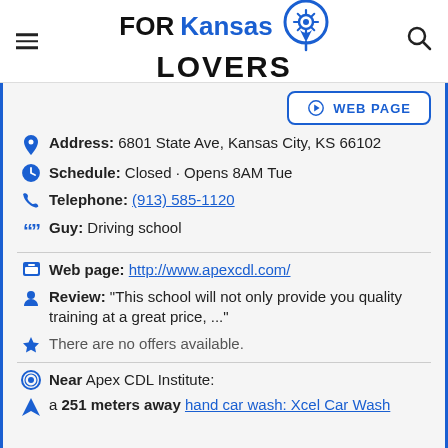FOR Kansas LOVERS
WEB PAGE
Address: 6801 State Ave, Kansas City, KS 66102
Schedule: Closed · Opens 8AM Tue
Telephone: (913) 585-1120
Guy: Driving school
Web page: http://www.apexcdl.com/
Review: "This school will not only provide you quality training at a great price, ..."
There are no offers available.
Near Apex CDL Institute:
a 251 meters away hand car wash: Xcel Car Wash